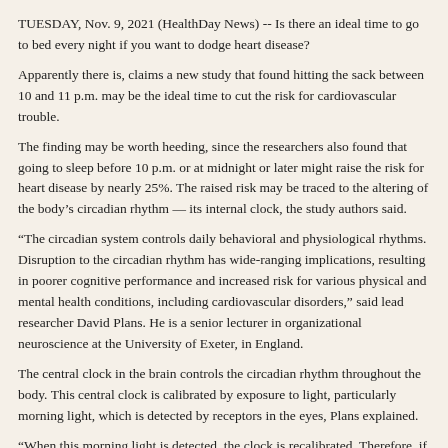TUESDAY, Nov. 9, 2021 (HealthDay News) -- Is there an ideal time to go to bed every night if you want to dodge heart disease?
Apparently there is, claims a new study that found hitting the sack between 10 and 11 p.m. may be the ideal time to cut the risk for cardiovascular trouble.
The finding may be worth heeding, since the researchers also found that going to sleep before 10 p.m. or at midnight or later might raise the risk for heart disease by nearly 25%. The raised risk may be traced to the altering of the body’s circadian rhythm — its internal clock, the study authors said.
"The circadian system controls daily behavioral and physiological rhythms. Disruption to the circadian rhythm has wide-ranging implications, resulting in poorer cognitive performance and increased risk for various physical and mental health conditions, including cardiovascular disorders," said lead researcher David Plans. He is a senior lecturer in organizational neuroscience at the University of Exeter, in England.
The central clock in the brain controls the circadian rhythm throughout the body. This central clock is calibrated by exposure to light, particularly morning light, which is detected by receptors in the eyes, Plans explained.
"When this morning light is detected, the clock is recalibrated. Therefore, if a person goes to sleep very late, they might oversleep and miss this critical period of morning light," he explained. "If this occurs over an extended period of time, the circadian rhythm will become disrupted. As a result, there will be effects on other behavioral and physiological rhythms, which can be detrimental to health."